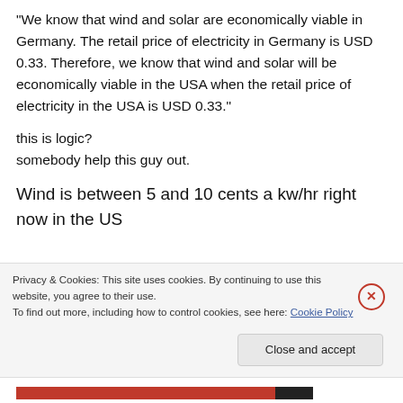“We know that wind and solar are economically viable in Germany. The retail price of electricity in Germany is USD 0.33. Therefore, we know that wind and solar will be economically viable in the USA when the retail price of electricity in the USA is USD 0.33.”
this is logic?
somebody help this guy out.
Wind is between 5 and 10 cents a kw/hr right now in the US
Privacy & Cookies: This site uses cookies. By continuing to use this website, you agree to their use.
To find out more, including how to control cookies, see here: Cookie Policy